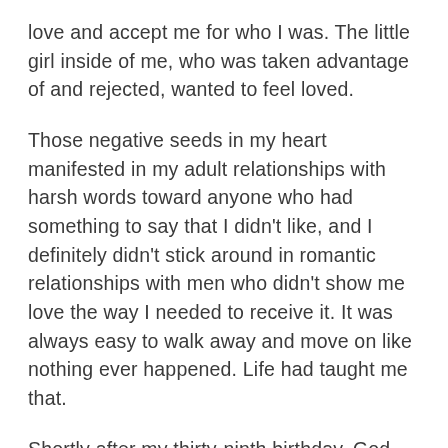love and accept me for who I was. The little girl inside of me, who was taken advantage of and rejected, wanted to feel loved.
Those negative seeds in my heart manifested in my adult relationships with harsh words toward anyone who had something to say that I didn’t like, and I definitely didn’t stick around in romantic relationships with men who didn’t show me love the way I needed to receive it. It was always easy to walk away and move on like nothing ever happened. Life had taught me that.
Shortly after my thirty-ninth birthday, God used a Believer that I’d recently met on a trip to my hometown in Alabama to say these words to me: God said to tell you that you don’t love yourself.